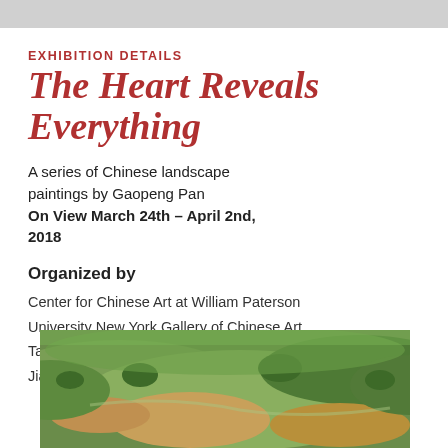EXHIBITION DETAILS
The Heart Reveals Everything
A series of Chinese landscape paintings by Gaopeng Pan
On View March 24th – April 2nd, 2018
Organized by
Center for Chinese Art at William Paterson
University New York Gallery of Chinese Art
Taizhou University, China
Jiangsu Chinese Culture Promotion Society
[Figure (photo): Chinese landscape painting showing aerial view of green fields and terrain]